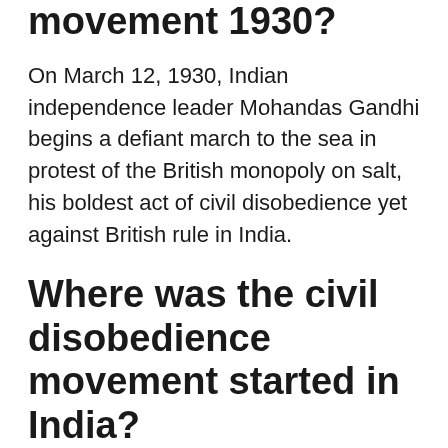movement 1930?
On March 12, 1930, Indian independence leader Mohandas Gandhi begins a defiant march to the sea in protest of the British monopoly on salt, his boldest act of civil disobedience yet against British rule in India.
Where was the civil disobedience movement started in India?
It began with the famous Dandi March of Gandhi. On 12 March 1930, Gandhi left the Sabarmati Ashram at Ahmadabad on foot with 78 other members of the Ashram for Dandi, a village on the western sea-coast of India, at a distance of about 385 km from